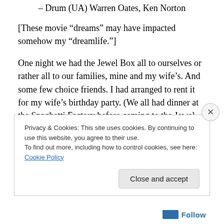– Drum (UA) Warren Oates, Ken Norton
[These movie “dreams” may have impacted somehow my “dreamlife.”]
One night we had the Jewel Box all to ourselves or rather all to our families, mine and my wife’s. And some few choice friends. I had arranged to rent it for my wife’s birthday party. (We all had dinner at the Spaghetti Factory before coming to the Jewel Box).
But what would renting a theater be without a movie? So I
Privacy & Cookies: This site uses cookies. By continuing to use this website, you agree to their use.
To find out more, including how to control cookies, see here: Cookie Policy
Close and accept